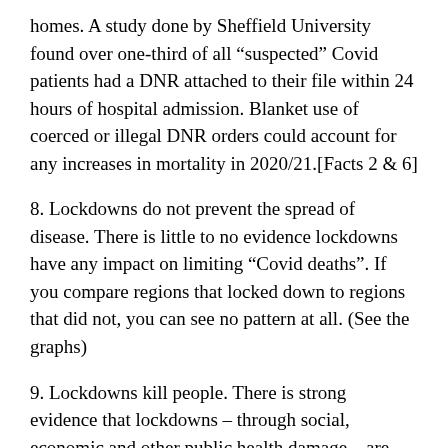homes. A study done by Sheffield University found over one-third of all “suspected” Covid patients had a DNR attached to their file within 24 hours of hospital admission. Blanket use of coerced or illegal DNR orders could account for any increases in mortality in 2020/21.[Facts 2 & 6]
8. Lockdowns do not prevent the spread of disease. There is little to no evidence lockdowns have any impact on limiting “Covid deaths”. If you compare regions that locked down to regions that did not, you can see no pattern at all. (See the graphs)
9. Lockdowns kill people. There is strong evidence that lockdowns – through social, economic and other public health damage – are deadlier than the “virus”.
Dr David Nabarro, World Health Organization special envoy for Covid-19 described lockdowns as